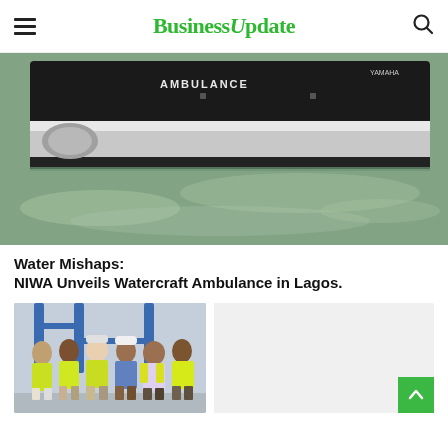BusinessUpdate
[Figure (photo): A watercraft ambulance boat on water, with 'AMBULANCE' text visible on the side, a dark hull, and a Yamaha engine visible at the rear.]
Water Mishaps:
NIWA Unveils Watercraft Ambulance in Lagos.
[Figure (photo): Group of people wearing yellow high-visibility vests standing together at what appears to be a port or dock facility with blue industrial structures in the background.]
[Figure (photo): Light gray/white box - partial or loading image on the right side]